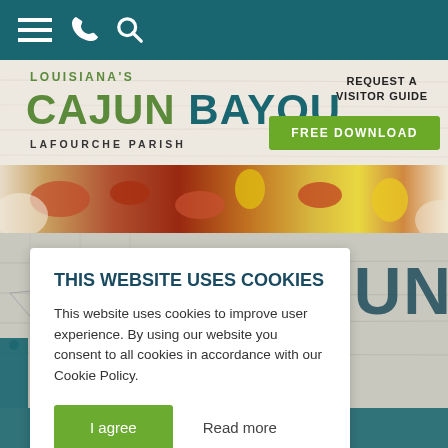[Figure (screenshot): Mobile website navigation bar with teal background showing hamburger menu, phone, and search icons in white]
[Figure (logo): Louisiana's Cajun Bayou Lafourche Parish logo with green and teal typography on wood-textured background]
REQUEST A VISITOR GUIDE
FREE DOWNLOAD
[Figure (photo): Close-up photo of Cajun food including crawfish, corn, and other seafood]
[Figure (map): Partial map of Louisiana with teal overlay at bottom]
S CAJUN
THIS WEBSITE USES COOKIES
This website uses cookies to improve user experience. By using our website you consent to all cookies in accordance with our Cookie Policy.
I agree
Read more